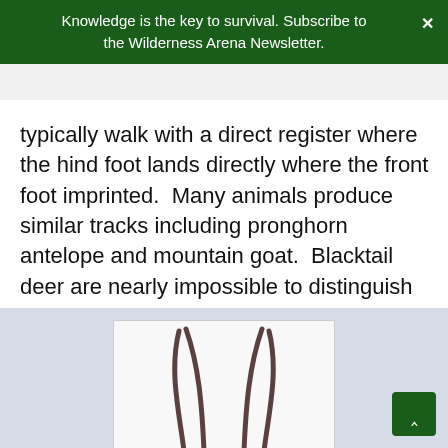Knowledge is the key to survival. Subscribe to the Wilderness Arena Newsletter.
typically walk with a direct register where the hind foot lands directly where the front foot imprinted.  Many animals produce similar tracks including pronghorn antelope and mountain goat.  Blacktail deer are nearly impossible to distinguish from white tailed deer without other non-track signs.
[Figure (illustration): Line drawing of deer hoof tracks showing two elongated parallel curves forming a cleft hoof shape, viewed from above on a white background.]